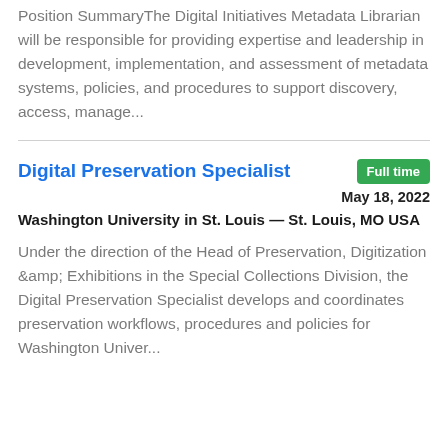Position SummaryThe Digital Initiatives Metadata Librarian will be responsible for providing expertise and leadership in development, implementation, and assessment of metadata systems, policies, and procedures to support discovery, access, manage...
Digital Preservation Specialist
Full time
May 18, 2022
Washington University in St. Louis — St. Louis, MO USA
Under the direction of the Head of Preservation, Digitization &amp; Exhibitions in the Special Collections Division, the Digital Preservation Specialist develops and coordinates preservation workflows, procedures and policies for Washington Univer...